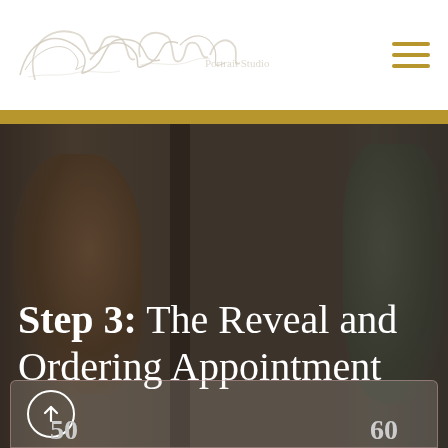[Figure (logo): Cursive script logo reading approximate portrait studio name in white/grey on white background]
[Figure (illustration): Hamburger menu icon with three horizontal gold lines]
[Figure (photo): Dark moody photo of two pregnant women posing in a portrait studio, dark background, one on the left in brown wrap, one on the right in green drape]
Step 3: The Reveal and Ordering Appointment
[Figure (infographic): Bottom card with upward arrow button and partial numbers visible at bottom edge]